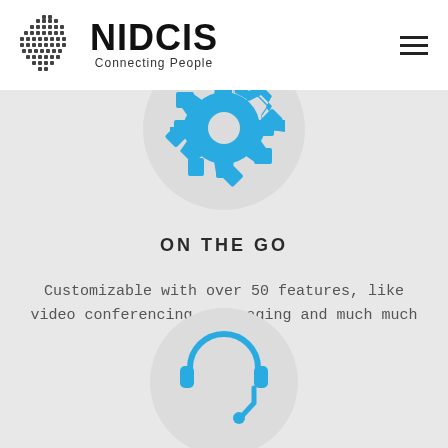[Figure (logo): NIDCIS logo with globe icon and text 'NIDCIS Connecting People']
[Figure (illustration): Blue gear/settings icon inside a light grey circle]
ON THE GO
Customizable with over 50 features, like video conferencing, messaging and much much more...
[Figure (illustration): Blue headset/support icon inside a light grey circle (partially visible at bottom)]